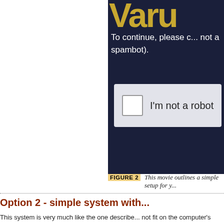[Figure (screenshot): A CAPTCHA verification screenshot on a dark navy background. The top shows large decorative text (partially cropped), followed by instruction text 'To continue, please c... not a spambot).' Below is a white CAPTCHA widget box with a checkbox and text 'I'm not a robot'.]
FIGURE 2  This movie outlines a simple setup for y...
Option 2 - simple system with...
This system is very much like the one describe... not fit on the computer's internal hard drive, an... your desk (or anywhere else that you can have... functions almost exactly like Option 1. However... Project Catalogue or a Works -in-progress cata... this arrangement.